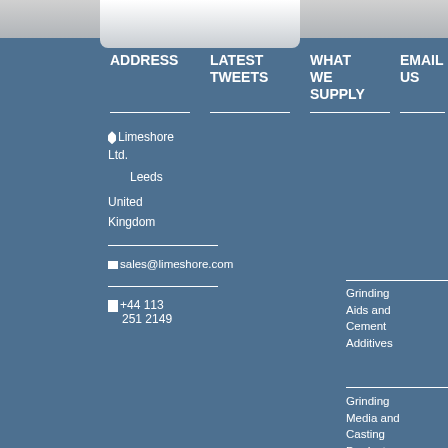ADDRESS
LATEST TWEETS
WHAT WE SUPPLY
EMAIL US
Limeshore Ltd.
Leeds
United Kingdom
sales@limeshore.com
+44 113 251 2149
Grinding Aids and Cement Additives
Grinding Media and Casting Products
Automation, Electrical and Instrumentation
Your Name (Required)
Email (Required)
Subject
Your Message